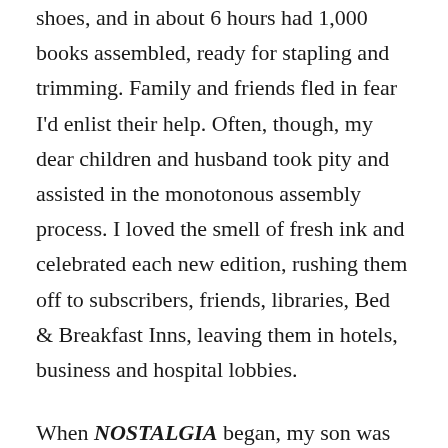shoes, and in about 6 hours had 1,000 books assembled, ready for stapling and trimming. Family and friends fled in fear I'd enlist their help. Often, though, my dear children and husband took pity and assisted in the monotonous assembly process. I loved the smell of fresh ink and celebrated each new edition, rushing them off to subscribers, friends, libraries, Bed & Breakfast Inns, leaving them in hotels, business and hospital lobbies.
When NOSTALGIA began, my son was 14, my daughter was 11. I was thirty-something and my husband had dark shiny black hair. By the 30th edition in 2001, I'd turned fifty, was coloring my hair, and my gray-headed husband and I had a grandchild. The cost of my publishing habits had ballooned! I downsized to a newsletter entitled NOSTALGICALLY for 6 editions. After a restful sabbatical, SECONDWIND appeared for 6 editions. Now HEART with 16 editions to date. There were days I